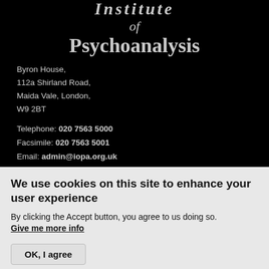[Figure (logo): Institute of Psychoanalysis logo text in italic serif on black background]
Byron House,
112a Shirland Road,
Maida Vale, London,
W9 2BT
Telephone: 020 7563 5000
Facsimile: 020 7563 5001
Email: admin@iopa.org.uk
Terms and Conditions
We use cookies on this site to enhance your user experience
By clicking the Accept button, you agree to us doing so.
Give me more info
OK, I agree